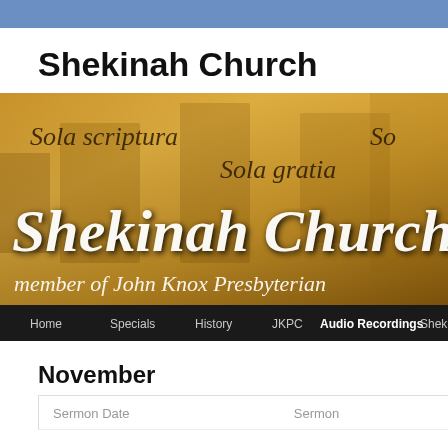Shekinah Church
[Figure (screenshot): Shekinah Church website banner with golden/amber background texture showing text 'Sola scriptura', 'Sola gratia', 'So...' in italic serif font, 'Shekinah Church' in large white italic script, 'member of John Knox Presbyterian' in white italic script below, with a navigation bar at the bottom containing: Home, Specials, History, JKPC, Audio Recordings, Shekina...]
November
| Sermon Date | Sermon |
| --- | --- |